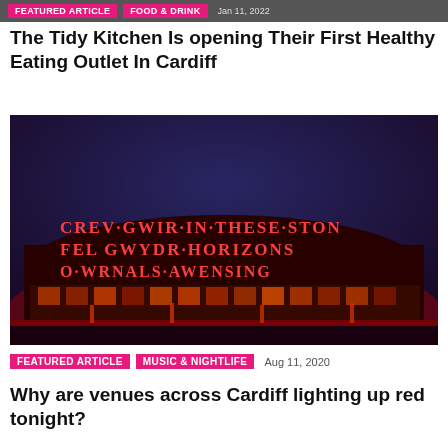FEATURED ARTICLE | FOOD & DRINK | Jan 11, 2022
The Tidy Kitchen Is opening Their First Healthy Eating Outlet In Cardiff
[Figure (photo): A building illuminated in red light at night with text projected: CREV GWIR IN THESE STONES FEL GWYDR HORIZONS O WRNALS AWENSING]
FEATURED ARTICLE
MUSIC & NIGHTLIFE
Aug 11, 2020
Why are venues across Cardiff lighting up red tonight?